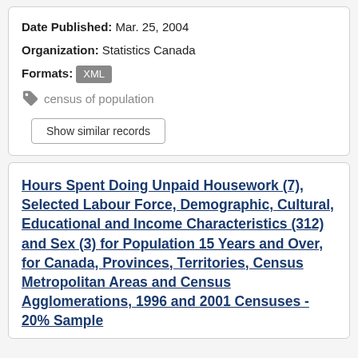Date Published: Mar. 25, 2004
Organization: Statistics Canada
Formats: XML
census of population
Show similar records
Hours Spent Doing Unpaid Housework (7), Selected Labour Force, Demographic, Cultural, Educational and Income Characteristics (312) and Sex (3) for Population 15 Years and Over, for Canada, Provinces, Territories, Census Metropolitan Areas and Census Agglomerations, 1996 and 2001 Censuses - 20% Sample